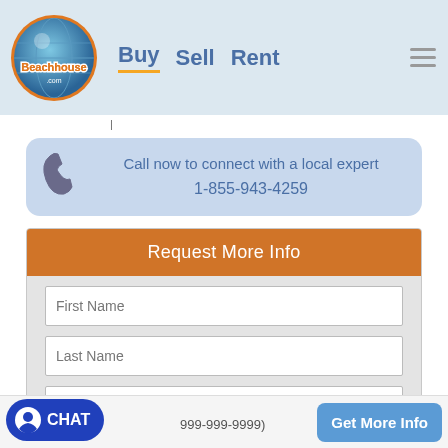[Figure (logo): Beachhouse.com logo — orange and blue globe with text]
Buy   Sell   Rent
Call now to connect with a local expert 1-855-943-4259
Request More Info
First Name
Last Name
Email
CHAT   (999-999-9999)
Get More Info